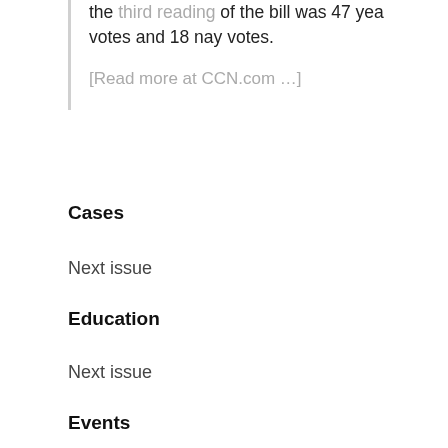the third reading of the bill was 47 yea votes and 18 nay votes.
[Read more at CCN.com …]
Cases
Next issue
Education
Next issue
Events
List of 2018 Events (CoinDesk.com)
Working Groups, Committees, & Orgs